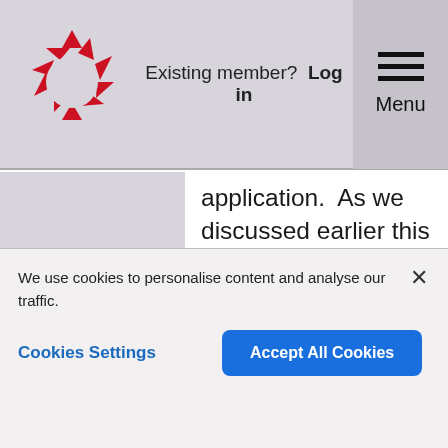[Figure (logo): Red circular logo made of triangular segments arranged in a ring, resembling a pie/wheel shape in red and white]
Existing member?  Log in  Menu
application.  As we discussed earlier this month it would be great to link up as we hope to develop what will be complimentary and mutually supportive resources.  Robin it would be similarly good to link with your work too - as good PPI facing resources to enhance skills in QI would be great to
We use cookies to personalise content and analyse our traffic.
Cookies Settings   Accept All Cookies